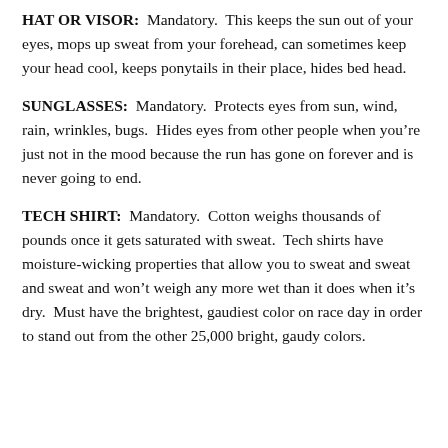HAT OR VISOR: Mandatory. This keeps the sun out of your eyes, mops up sweat from your forehead, can sometimes keep your head cool, keeps ponytails in their place, hides bed head.
SUNGLASSES: Mandatory. Protects eyes from sun, wind, rain, wrinkles, bugs. Hides eyes from other people when you're just not in the mood because the run has gone on forever and is never going to end.
TECH SHIRT: Mandatory. Cotton weighs thousands of pounds once it gets saturated with sweat. Tech shirts have moisture-wicking properties that allow you to sweat and sweat and sweat and won't weigh any more wet than it does when it's dry. Must have the brightest, gaudiest color on race day in order to stand out from the other 25,000 bright, gaudy colors.